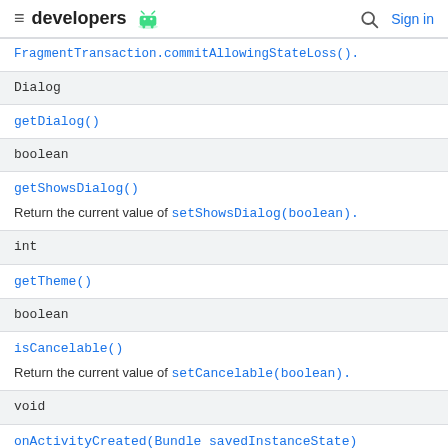developers [android logo] | [search] Sign in
| Return type | Method |
| --- | --- |
|  | FragmentTransaction.commitAllowingStateLoss(). |
| Dialog |  |
|  | getDialog() |
| boolean |  |
|  | getShowsDialog()
Return the current value of setShowsDialog(boolean). |
| int |  |
|  | getTheme() |
| boolean |  |
|  | isCancelable()
Return the current value of setCancelable(boolean). |
| void |  |
|  | onActivityCreated(Bundle savedInstanceState) |